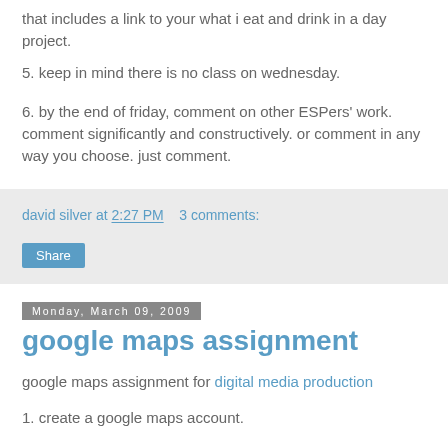that includes a link to your what i eat and drink in a day project.
5. keep in mind there is no class on wednesday.
6. by the end of friday, comment on other ESPers' work. comment significantly and constructively. or comment in any way you choose. just comment.
david silver at 2:27 PM   3 comments:
Share
Monday, March 09, 2009
google maps assignment
google maps assignment for digital media production
1. create a google maps account.
2. learn how to use google maps.